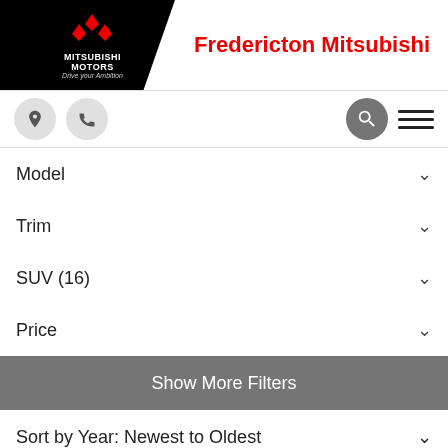[Figure (logo): Mitsubishi Motors logo with diamond emblem, white text on black background, tagline 'Drive your Ambition']
Fredericton Mitsubishi
[Figure (infographic): Navigation bar with location pin icon, phone icon, search icon, and hamburger menu]
Model ∨
Trim ∨
SUV (16) ∨
Price ∨
Show More Filters
Sort by Year: Newest to Oldest ∨
SUV (16)  x
CLEAR ALL